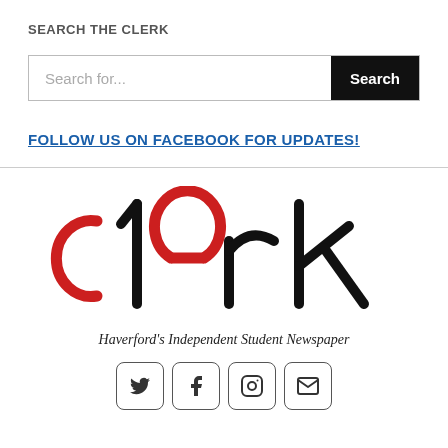SEARCH THE CLERK
[Figure (screenshot): Search bar with placeholder text 'Search for...' and a black 'Search' button on the right]
FOLLOW US ON FACEBOOK FOR UPDATES!
[Figure (logo): The Clerk logo — stylized word 'clerk' with red circular letters (c, e) and black letters (l, r, k), with tagline 'Haverford's Independent Student Newspaper' and social media icons for Twitter, Facebook, Instagram, and Email]